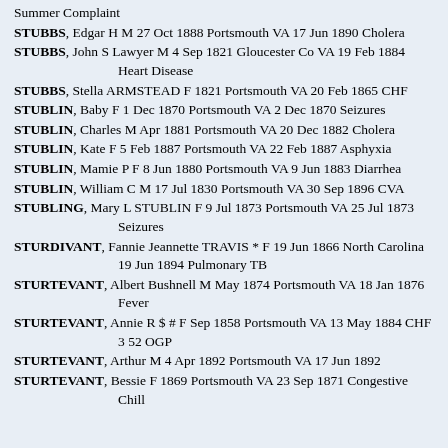Summer Complaint
STUBBS, Edgar H M 27 Oct 1888 Portsmouth VA 17 Jun 1890 Cholera
STUBBS, John S Lawyer M 4 Sep 1821 Gloucester Co VA 19 Feb 1884 Heart Disease
STUBBS, Stella ARMSTEAD F 1821 Portsmouth VA 20 Feb 1865 CHF
STUBLIN, Baby F 1 Dec 1870 Portsmouth VA 2 Dec 1870 Seizures
STUBLIN, Charles M Apr 1881 Portsmouth VA 20 Dec 1882 Cholera
STUBLIN, Kate F 5 Feb 1887 Portsmouth VA 22 Feb 1887 Asphyxia
STUBLIN, Mamie P F 8 Jun 1880 Portsmouth VA 9 Jun 1883 Diarrhea
STUBLIN, William C M 17 Jul 1830 Portsmouth VA 30 Sep 1896 CVA
STUBLING, Mary L STUBLIN F 9 Jul 1873 Portsmouth VA 25 Jul 1873 Seizures
STURDIVANT, Fannie Jeannette TRAVIS * F 19 Jun 1866 North Carolina 19 Jun 1894 Pulmonary TB
STURTEVANT, Albert Bushnell M May 1874 Portsmouth VA 18 Jan 1876 Fever
STURTEVANT, Annie R $ # F Sep 1858 Portsmouth VA 13 May 1884 CHF 3 52 OGP
STURTEVANT, Arthur M 4 Apr 1892 Portsmouth VA 17 Jun 1892
STURTEVANT, Bessie F 1869 Portsmouth VA 23 Sep 1871 Congestive Chill